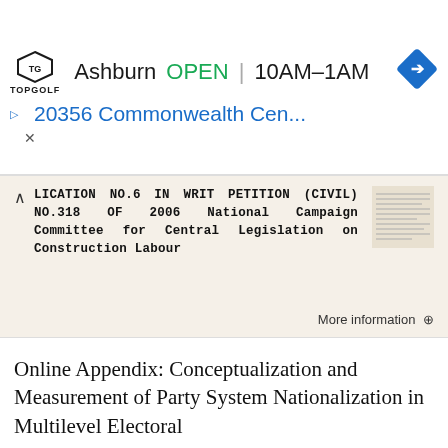[Figure (other): TopGolf advertisement banner showing Ashburn location, OPEN status, hours 10AM-1AM, address 20356 Commonwealth Cen...]
LICATION NO.6 IN WRIT PETITION (CIVIL) NO.318 OF 2006 National Campaign Committee for Central Legislation on Construction Labour
More information →
Online Appendix: Conceptualization and Measurement of Party System Nationalization in Multilevel Electoral
Online Appendix: Conceptualization and Measurement of Party System Nationalization in Multilevel Electoral Systems Schakel, Arjan H. and Swenden, Wilfried (2016) Rethinking Party System Nationalization